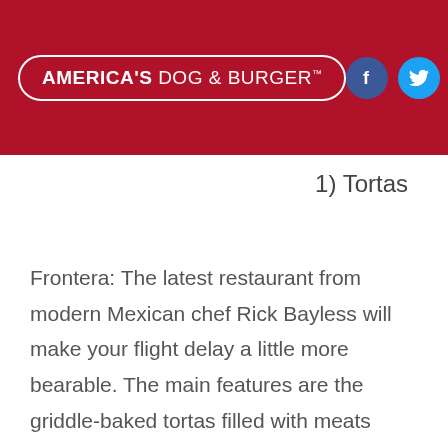[Figure (logo): America's Dog & Burger logo in white text inside a white rounded rectangle outline on a dark red header background]
1) Tortas
Frontera: The latest restaurant from modern Mexican chef Rick Bayless will make your flight delay a little more bearable. The main features are the griddle-baked tortas filled with meats such as chipotle chicken, beer-braised beef short ribs and pork chorizo. Also enjoy molletes, soups and salads and a